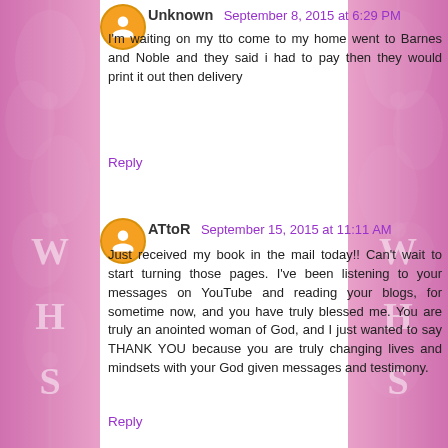Unknown September 8, 2015 at 6:29 PM
I'm waiting on my tto come to my home went to Barnes and Noble and they said i had to pay then they would print it out then delivery
Reply
ATtoR September 15, 2015 at 11:11 AM
Just received my book in the mail today!! Can't wait to start turning those pages. I've been listening to your messages on YouTube and reading your blogs, for sometime now, and you have truly blessed me. You are truly an anointed woman of God, and I just wanted to say THANK YOU because you are truly changing lives and mindsets with your God given messages and testimony.
Reply
Anonymous September 18, 2015 at 3:17 AM
do you have your books sold in south Africa?